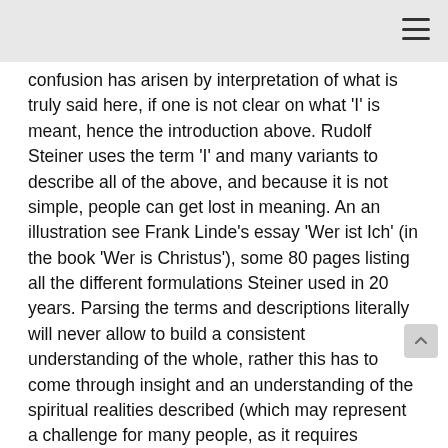≡
confusion has arisen by interpretation of what is truly said here, if one is not clear on what 'I' is meant, hence the introduction above. Rudolf Steiner uses the term 'I' and many variants to describe all of the above, and because it is not simple, people can get lost in meaning. An an illustration see Frank Linde's essay 'Wer ist Ich' (in the book 'Wer is Christus'), some 80 pages listing all the different formulations Steiner used in 20 years. Parsing the terms and descriptions literally will never allow to build a consistent understanding of the whole, rather this has to come through insight and an understanding of the spiritual realities described (which may represent a challenge for many people, as it requires extensive dedicated study and contemplation). Related to this part of your question also see Q00.009 - the idea of no self, or blotting out one's self
The 'worth' is measured on a balance of righteous balanced devolonment of the I towards its evolutionary